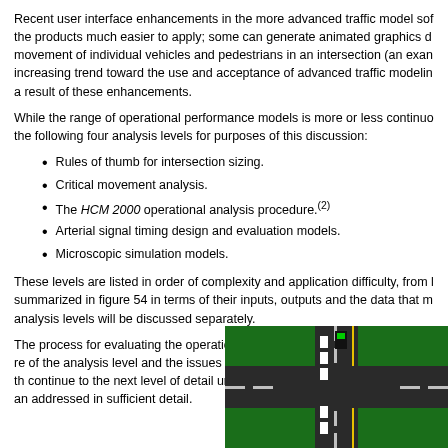Recent user interface enhancements in the more advanced traffic model software have made the products much easier to apply; some can generate animated graphics displaying the movement of individual vehicles and pedestrians in an intersection (an example is shown). An increasing trend toward the use and acceptance of advanced traffic modeling tools has occurred as a result of these enhancements.
While the range of operational performance models is more or less continuous, it is useful to define the following four analysis levels for purposes of this discussion:
Rules of thumb for intersection sizing.
Critical movement analysis.
The HCM 2000 operational analysis procedure.(2)
Arterial signal timing design and evaluation models.
Microscopic simulation models.
These levels are listed in order of complexity and application difficulty, from least to most, and are summarized in figure 54 in terms of their inputs, outputs and the data that may be required. The analysis levels will be discussed separately.
The process for evaluating the operational performance of an intersection requires careful selection of the analysis level and the issues at hand. The analysis should begin at the simplest level and continue to the next level of detail until the key operations-related issues and design alternatives are addressed in sufficient detail.
[Figure (photo): Animated intersection simulation showing vehicles on a road with green surroundings, white dashed lane markings, and a traffic signal.]